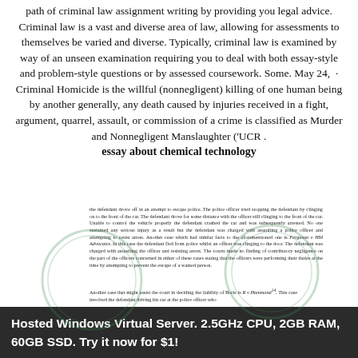path of criminal law assignment writing by providing you legal advice. Criminal law is a vast and diverse area of law, allowing for assessments to themselves be varied and diverse. Typically, criminal law is examined by way of an unseen examination requiring you to deal with both essay-style and problem-style questions or by assessed coursework. Some. May 24, · Criminal Homicide is the willful (nonnegligent) killing of one human being by another generally, any death caused by injuries received in a fight, argument, quarrel, assault, or commission of a crime is classified as Murder and Nonnegligent Manslaughter ('UCR . essay about chemical technology
the defendant drove off in an attempt to escape police. The police officer tried stopping the defendant by clinging on to the front of the car. The defendant drove for some distance with the officer still clinging to the front of the car. Unable to control the vehicle properly the defendant crashed the car and was subsequently arrested. No one sustained any serious injury as a result but the defendant was charged with assaulting a police officer and attempting to resist arrest. Another case which had similar facts to the aforementioned one is Ferguson v HM Advocates. In this case the defendant fled from police whilst an officer was clinging to the door. The defendant was charged with assaulting the officer and resisting arrest. The court made no finding of contributory negligence on the part of the officers concerned in either of these cases stating that the officers were performing their duties at the time by attempting to prevent the escape of a wanted person.
Another case that might assist the court in deciding the liability of Boris is R v Hammond. This case involved the defendant driving his car at the police officer who...
Hosted Windows Virtual Server. 2.5GHz CPU, 2GB RAM, 60GB SSD. Try it now for $1!